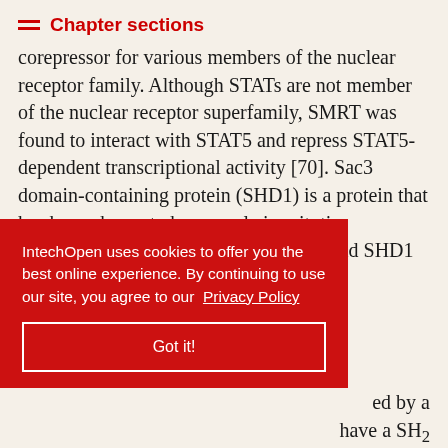Chapter sections
corepressor for various members of the nuclear receptor family. Although STATs are not member of the nuclear receptor superfamily, SMRT was found to interact with STAT5 and repress STAT5-dependent transcriptional activity [70]. Sac3 domain-containing protein (SHD1) is a protein that has been shown to have a role in mitotic progression and interacts with STAT5, and SHD1 can be induced by various cytokines and hormones, suggesting a potential role in modulating STAT5 transcriptional activity [...]
IntechOpen uses cookies to offer you the best online experience. By continuing to use our site, you agree to our Privacy Policy
Got it!
...ed by a ...have a SH2 domain and SOCS box domain [...]. F...